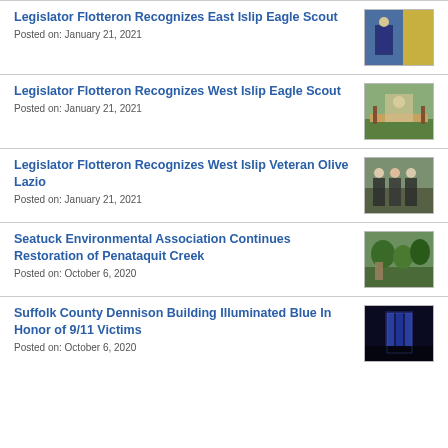Legislator Flotteron Recognizes East Islip Eagle Scout
Posted on: January 21, 2021
Legislator Flotteron Recognizes West Islip Eagle Scout
Posted on: January 21, 2021
Legislator Flotteron Recognizes West Islip Veteran Olive Lazio
Posted on: January 21, 2021
Seatuck Environmental Association Continues Restoration of Penataquit Creek
Posted on: October 6, 2020
Suffolk County Dennison Building Illuminated Blue In Honor of 9/11 Victims
Posted on: October 6, 2020